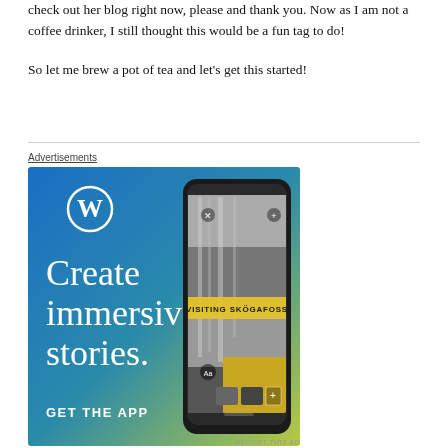check out her blog right now, please and thank you. Now as I am not a coffee drinker, I still thought this would be a fun tag to do!
So let me brew a pot of tea and let's get this started!
[Figure (other): WordPress advertisement banner: blue-to-yellow-green gradient background with WordPress logo (W in circle), text 'Create immersive stories.' and 'GET THE APP', alongside a smartphone mockup showing a waterfall image with 'VISITING SKOGAFOSS' label.]